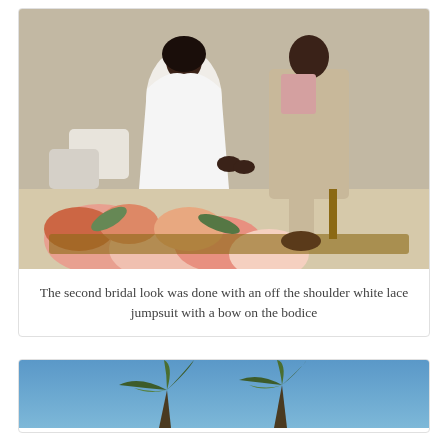[Figure (photo): A bride in an off-the-shoulder white lace jumpsuit and a groom in a beige suit hold hands. Orange, pink, and white flowers are in the foreground. Outdoor desert setting.]
The second bridal look was done with an off the shoulder white lace jumpsuit with a bow on the bodice
[Figure (photo): Blue sky with the tops of two desert palm/Joshua trees visible at the bottom of the frame.]